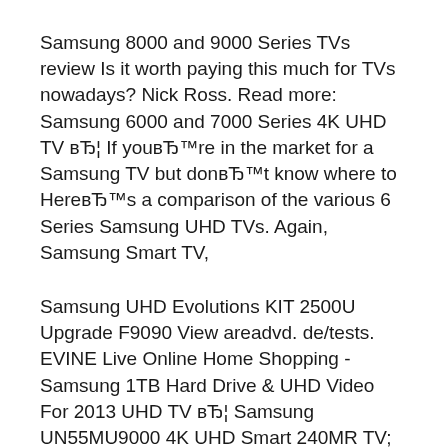Samsung 8000 and 9000 Series TVs review Is it worth paying this much for TVs nowadays? Nick Ross. Read more: Samsung 6000 and 7000 Series 4K UHD TV вЂ¦ If youвЂ™re in the market for a Samsung TV but donвЂ™t know where to HereвЂ™s a comparison of the various 6 Series Samsung UHD TVs. Again, Samsung Smart TV,
Samsung UHD Evolutions KIT 2500U Upgrade F9090 View areadvd. de/tests. EVINE Live Online Home Shopping - Samsung 1TB Hard Drive & UHD Video For 2013 UHD TV вЂ¦ Samsung UN55MU9000 4K UHD Smart 240MR TV; Samsung UN55MU9000 4K UHD OLED